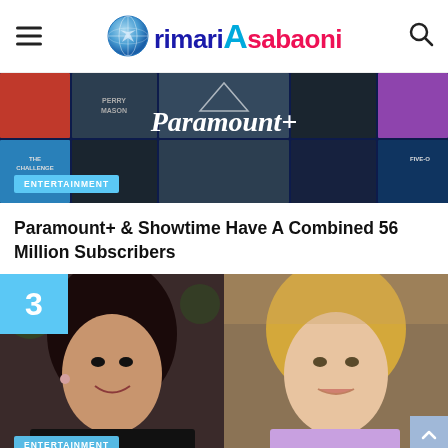rimari Asabaoni
[Figure (photo): Paramount+ streaming service promotional banner showing movie/TV show thumbnails including Perry Mason and The Challenge]
ENTERTAINMENT
Paramount+ & Showtime Have A Combined 56 Million Subscribers
[Figure (photo): Two women side by side - left: dark-haired woman smiling, right: blonde woman in lavender outfit, with number 3 badge in top left corner]
ENTERTAINMENT